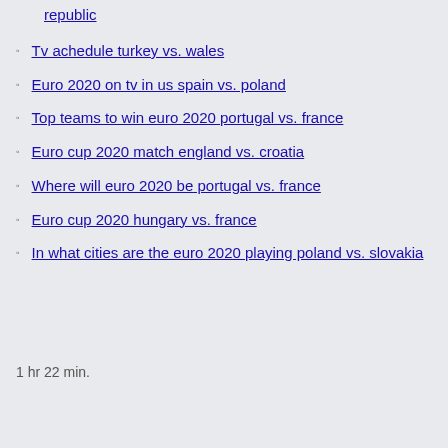republic
Tv achedule turkey vs. wales
Euro 2020 on tv in us spain vs. poland
Top teams to win euro 2020 portugal vs. france
Euro cup 2020 match england vs. croatia
Where will euro 2020 be portugal vs. france
Euro cup 2020 hungary vs. france
In what cities are the euro 2020 playing poland vs. slovakia
1 hr 22 min.